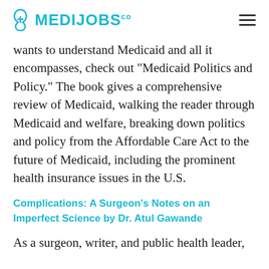MEDIJOBS.co
wants to understand Medicaid and all it encompasses, check out “Medicaid Politics and Policy.” The book gives a comprehensive review of Medicaid, walking the reader through Medicaid and welfare, breaking down politics and policy from the Affordable Care Act to the future of Medicaid, including the prominent health insurance issues in the U.S.
Complications: A Surgeon’s Notes on an Imperfect Science by Dr. Atul Gawande
As a surgeon, writer, and public health leader,